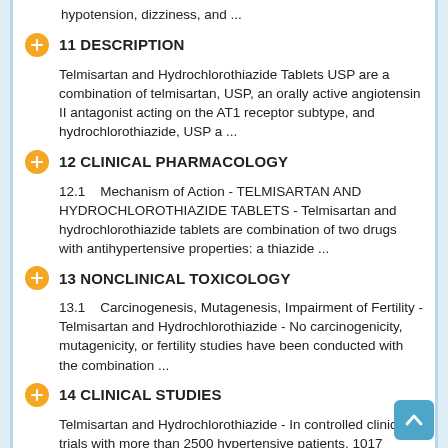hypotension, dizziness, and ...
11 DESCRIPTION
Telmisartan and Hydrochlorothiazide Tablets USP are a combination of telmisartan, USP, an orally active angiotensin II antagonist acting on the AT1 receptor subtype, and hydrochlorothiazide, USP a ...
12 CLINICAL PHARMACOLOGY
12.1    Mechanism of Action - TELMISARTAN AND HYDROCHLOROTHIAZIDE TABLETS - Telmisartan and hydrochlorothiazide tablets are combination of two drugs with antihypertensive properties: a thiazide ...
13 NONCLINICAL TOXICOLOGY
13.1    Carcinogenesis, Mutagenesis, Impairment of Fertility - Telmisartan and Hydrochlorothiazide - No carcinogenicity, mutagenicity, or fertility studies have been conducted with the combination ...
14 CLINICAL STUDIES
Telmisartan and Hydrochlorothiazide - In controlled clinical trials with more than 2500 hypertensive patients, 1017